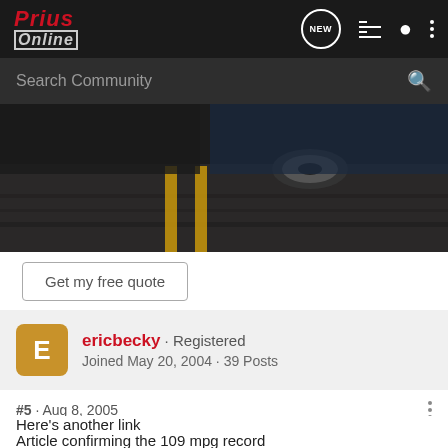Prius Online
Search Community
[Figure (photo): Bottom of a car driving on a road with yellow lane lines, motion blur, dark background]
Get my free quote
ericbecky · Registered
Joined May 20, 2004 · 39 Posts
#5 · Aug 8, 2005
Here's another link
Article confirming the 109 mpg record
http://hybridcars.about.com/od/news/a/109mpgrecord.htm